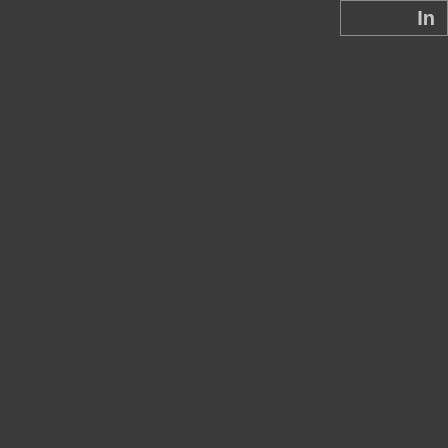In
[Figure (illustration): Partial grid/gallery layout on dark background showing image cards with labels. Top-right shows partial card with text 'In'. Middle row shows three cards: 'Miniature Eiffel Tower Ride', 'Pirate Themed Ride at the Prater', and partial 'Riese...'. Bottom row shows partial cards: 'Spinning Tower Ride' and 'Tagada Ride at the'.]
Miniature Eiffel Tower Ride
Pirate Themed Ride at the Prater
Riese...
Spinning Tower Ride
Tagada Ride at the